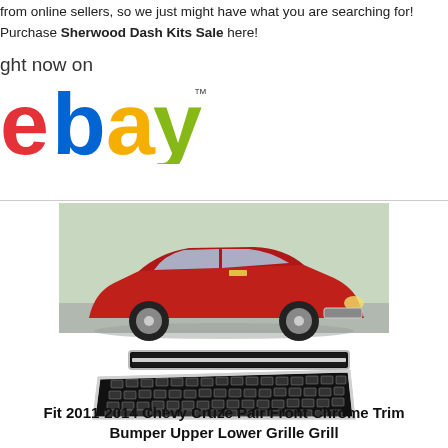from online sellers, so we just might have what you are searching for! Purchase Sherwood Dash Kits Sale here!
[Figure (logo): eBay logo with 'ght now on' text to the left, partial view of 'Buy It Right Now on eBay' banner]
[Figure (photo): Photo of a red Chevrolet Cruze sedan and below it a pair of chrome front bumper grilles (upper and lower) for 2011-2014 Chevy Cruze]
Fit 2011-2014 Chevy Cruze Pair Front Chrome Trim Bumper Upper Lower Grille Grill